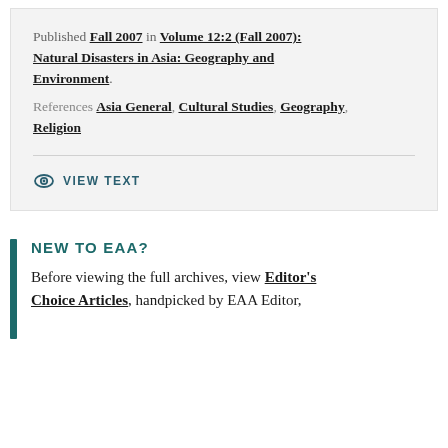Published Fall 2007 in Volume 12:2 (Fall 2007): Natural Disasters in Asia: Geography and Environment. References Asia General, Cultural Studies, Geography, Religion
VIEW TEXT
NEW TO EAA?
Before viewing the full archives, view Editor's Choice Articles, handpicked by EAA Editor,